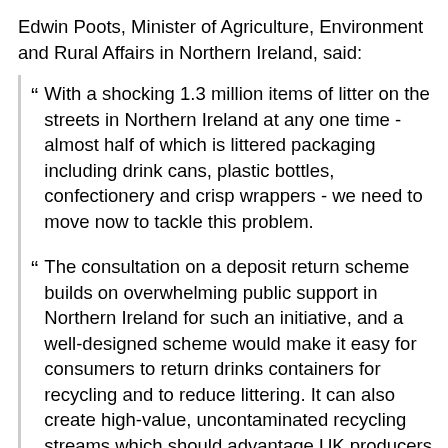Edwin Poots, Minister of Agriculture, Environment and Rural Affairs in Northern Ireland, said:
With a shocking 1.3 million items of litter on the streets in Northern Ireland at any one time - almost half of which is littered packaging including drink cans, plastic bottles, confectionery and crisp wrappers - we need to move now to tackle this problem.
The consultation on a deposit return scheme builds on overwhelming public support in Northern Ireland for such an initiative, and a well-designed scheme would make it easy for consumers to return drinks containers for recycling and to reduce littering. It can also create high-value, uncontaminated recycling streams which should advantage UK producers and incentivise investment in the